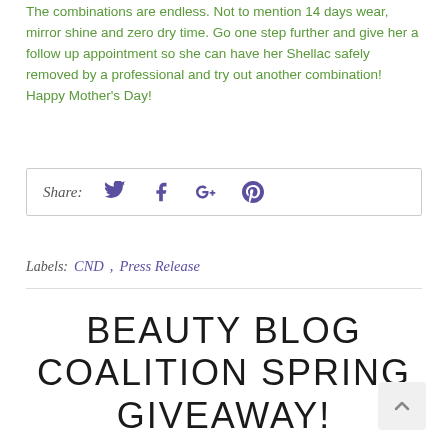The combinations are endless. Not to mention 14 days wear, mirror shine and zero dry time. Go one step further and give her a follow up appointment so she can have her Shellac safely removed by a professional and try out another combination!  Happy Mother's Day!
Share: [Twitter] [Facebook] [Google+] [Pinterest]
Labels: CND, Press Release
BEAUTY BLOG COALITION SPRING GIVEAWAY!